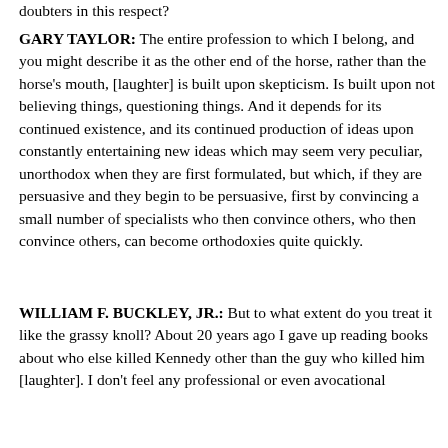doubters in this respect?
GARY TAYLOR: The entire profession to which I belong, and you might describe it as the other end of the horse, rather than the horse's mouth, [laughter] is built upon skepticism. Is built upon not believing things, questioning things. And it depends for its continued existence, and its continued production of ideas upon constantly entertaining new ideas which may seem very peculiar, unorthodox when they are first formulated, but which, if they are persuasive and they begin to be persuasive, first by convincing a small number of specialists who then convince others, who then convince others, can become orthodoxies quite quickly.
WILLIAM F. BUCKLEY, JR.: But to what extent do you treat it like the grassy knoll? About 20 years ago I gave up reading books about who else killed Kennedy other than the guy who killed him [laughter]. I don't feel any professional or even avocational